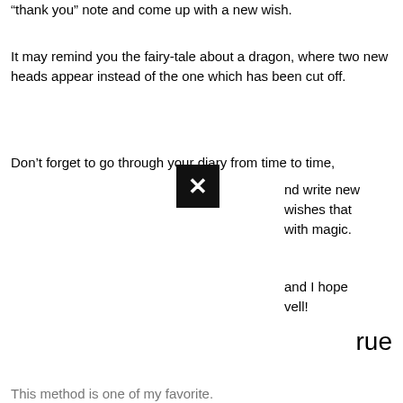“thank you” note and come up with a new wish.
It may remind you the fairy-tale about a dragon, where two new heads appear instead of the one which has been cut off.
Don’t forget to go through your diary from time to time, and write new wishes that with magic. and I hope vell! rue
This method is one of my favorite.